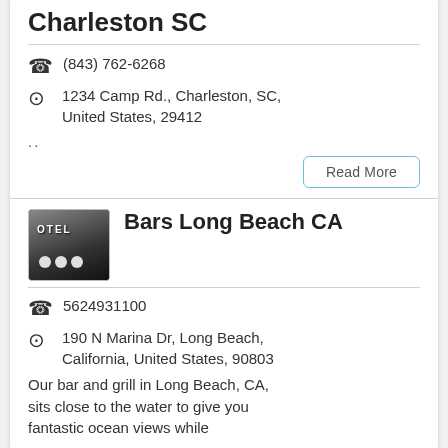Charleston SC
(843) 762-6268
1234 Camp Rd., Charleston, SC, United States, 29412
..
[Figure (screenshot): Hotel/bar thumbnail image (dark building facade)]
Bars Long Beach CA
5624931100
190 N Marina Dr, Long Beach, California, United States, 90803
Our bar and grill in Long Beach, CA, sits close to the water to give you fantastic ocean views while